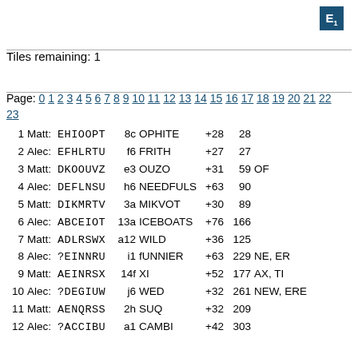[Figure (other): Blue tile icon with letter E and subscript 1]
Tiles remaining: 1
Page: 0 1 2 3 4 5 6 7 8 9 10 11 12 13 14 15 16 17 18 19 20 21 22 23
1 Matt: EHIOOPT   8c OPHITE    +28  28
2 Alec: EFHLRTU   f6 FRITH     +27  27
3 Matt: DKOOUVZ   e3 OUZO      +31  59 OF
4 Alec: DEFLNSU   h6 NEEDFULS  +63  90
5 Matt: DIKMRTV   3a MIKVOT    +30  89
6 Alec: ABCEIOT  13a ICEBOATS  +76 166
7 Matt: ADLRSWX  a12 WILD      +36 125
8 Alec: ?EINNRU   i1 fUNNIER   +63 229 NE, ER
9 Matt: AEINRSX  14f XI        +52 177 AX, TI
10 Alec: ?DEGIUW  j6 WED       +32 261 NEW, ERE
11 Matt: AENQRSS  2h SUQ       +32 209
12 Alec: ?ACCIBU  a1 CAMBI     +42 303